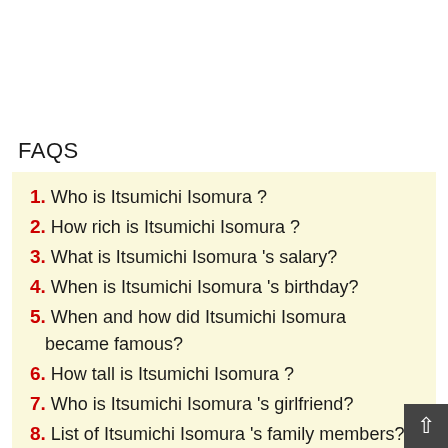FAQS
1. Who is Itsumichi Isomura ?
2. How rich is Itsumichi Isomura ?
3. What is Itsumichi Isomura 's salary?
4. When is Itsumichi Isomura 's birthday?
5. When and how did Itsumichi Isomura became famous?
6. How tall is Itsumichi Isomura ?
7. Who is Itsumichi Isomura 's girlfriend?
8. List of Itsumichi Isomura 's family members?
9. Why do people love Itsumichi Isomura?